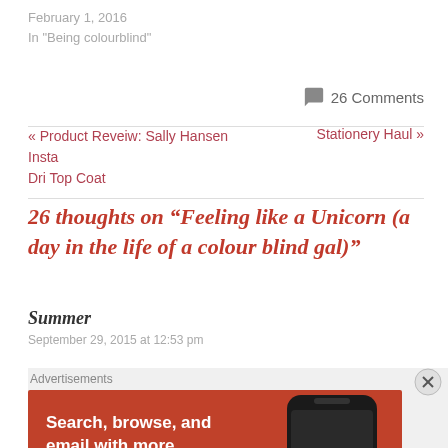February 1, 2016
In "Being colourblind"
26 Comments
« Product Reveiw: Sally Hansen Insta Dri Top Coat
Stationery Haul »
26 thoughts on “Feeling like a Unicorn (a day in the life of a colour blind gal)”
Summer
September 29, 2015 at 12:53 pm
[Figure (other): DuckDuckGo advertisement: orange background with phone graphic. Text: Search, browse, and email with more privacy. All in One Free App. DuckDuckGo.]